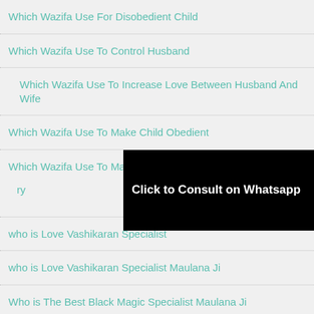Which Wazifa Use For Disobedient Child
Which Wazifa Use To Control Husband
Which Wazifa Use To Increase Love Between Husband And Wife
Which Wazifa Use To Make Child Obedient
Which Wazifa Use To Mar[ry]
[Figure (other): Black banner overlay with text 'Click to Consult on Whatsapp']
who is Love Vashikaran Specialist
who is Love Vashikaran Specialist Maulana Ji
Who is The Best Black Magic Specialist Maulana Ji
why long distance relationships don't work